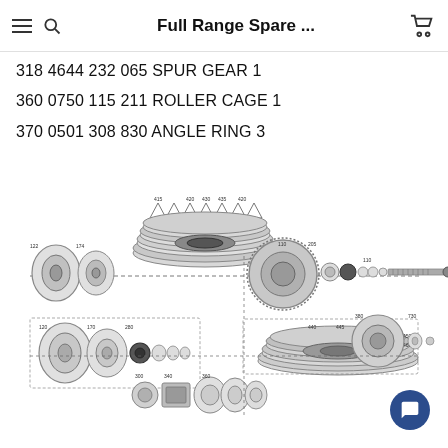Full Range Spare ...
318 4644 232 065 SPUR GEAR 1
360 0750 115 211 ROLLER CAGE 1
370 0501 308 830 ANGLE RING 3
[Figure (engineering-diagram): Exploded view engineering diagram of transmission/gearbox assembly showing multiple rings, roller cages, spur gears, angle rings, bearings, and a shaft with numbered part callouts arranged in an exploded isometric layout]